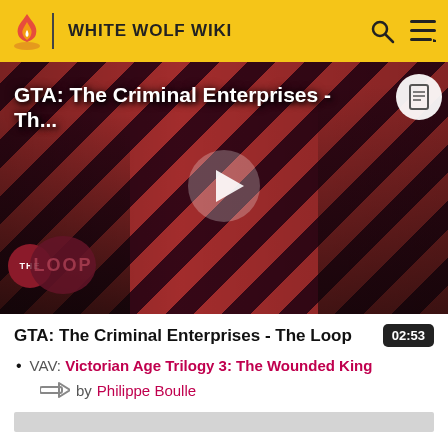WHITE WOLF WIKI
[Figure (screenshot): Video thumbnail for 'GTA: The Criminal Enterprises - Th...' showing characters on a red diagonal stripe background with THE LOOP logo and a play button in the center]
GTA: The Criminal Enterprises - The Loop
02:53
VAV: Victorian Age Trilogy 3: The Wounded King
by Philippe Boulle